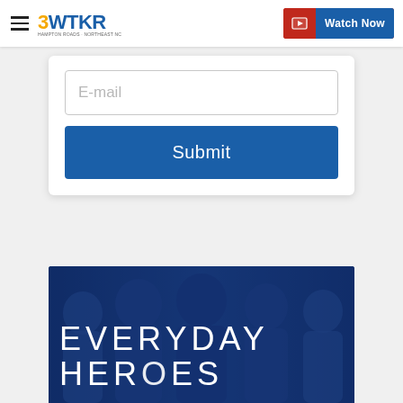3WTKR | Watch Now
E-mail
Submit
[Figure (photo): Group of diverse smiling people with blue overlay and text 'EVERYDAY HEROES']